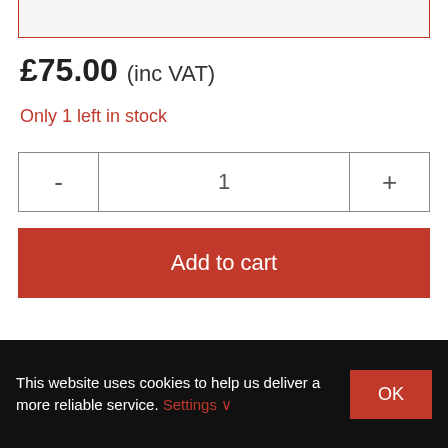£75.00 (inc VAT)
Only 1 left in stock
- 1 +
Add to cart
SKU:
16-DUM604ZX
This website uses cookies to help us deliver a more reliable service. Settings ∨ OK